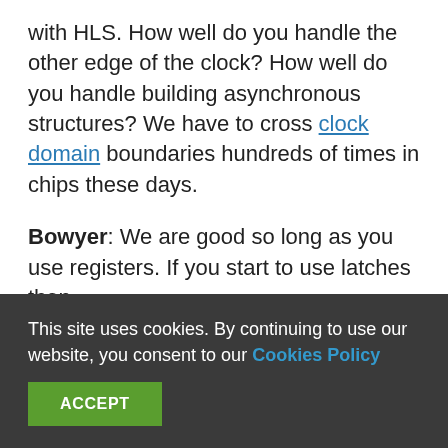with HLS. How well do you handle the other edge of the clock? How well do you handle building asynchronous structures? We have to cross clock domain boundaries hundreds of times in chips these days.
Bowyer: We are good so long as you use registers. If you start to use latches then...
Wingard: So my clock tree has latches all over it.
Bowyer: Those kinds of things are not easily
This site uses cookies. By continuing to use our website, you consent to our Cookies Policy